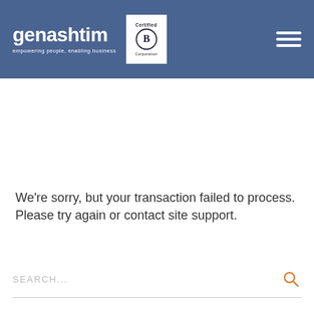[Figure (logo): Genashtim logo with text 'genashtim empowering people, enabling business' and Certified B Corporation badge, with hamburger menu icon on the right, on a blue header background]
We're sorry, but your transaction failed to process. Please try again or contact site support.
SEARCH...